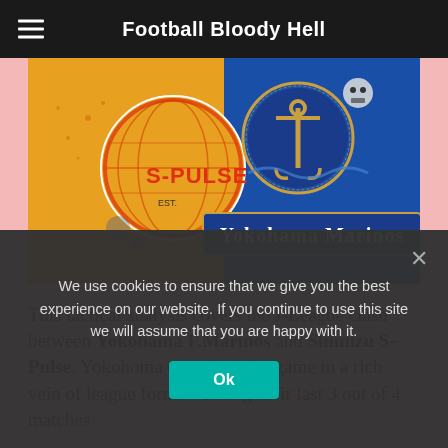Football Bloody Hell
[Figure (illustration): Split image showing Shimizu S-Pulse logo on orange background (left) and Yokohama Marinos logo on blue background (right)]
This tactical analysis covers the J-League clash between Yokohama F.Marinos and Shimizu S-Pulse. Yokohoma came into the game in a rich vein of league form. Winning their last 3 out of 4 matches
We use cookies to ensure that we give you the best experience on our website. If you continue to use this site we will assume that you are happy with it.